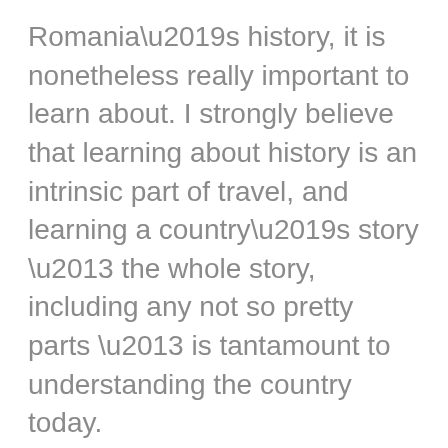Romania’s history, it is nonetheless really important to learn about. I strongly believe that learning about history is an intrinsic part of travel, and learning a country’s story – the whole story, including any not so pretty parts – is tantamount to understanding the country today.

And, I think that all tourists and travelers have a duty to make attempts to understand each country that they visit.